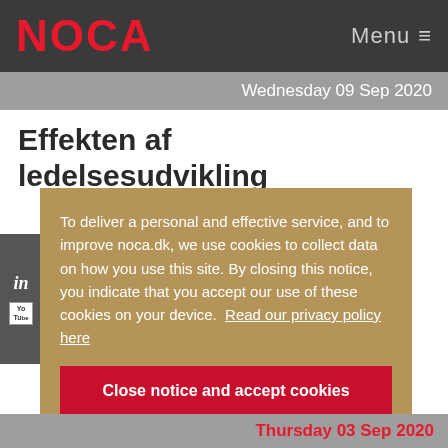NOCA   Menu ≡
Wednesday 09 Sep 2020
Effekten af ledelsesudvikling
To deliver a personal and effective service, and to improve noca.dk, we use cookies to collect data on how you use this site. By closing this notice, you indicate that you accept our use of these cookies on your device.  Read our privacy policy here
Close notice and accept cookies
Thursday 03 Sep 2020